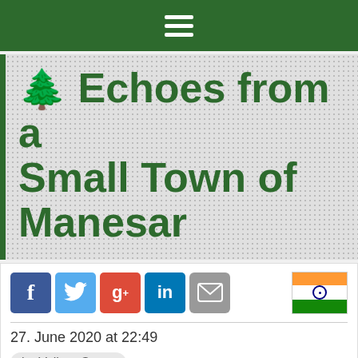Navigation menu bar
🌲 Echoes from a Small Town of Manesar
[Figure (infographic): Social sharing icons: Facebook, Twitter, Google+, LinkedIn, Email, and an Indian flag]
27. June 2020 at 22:49
by Vallary Gupta